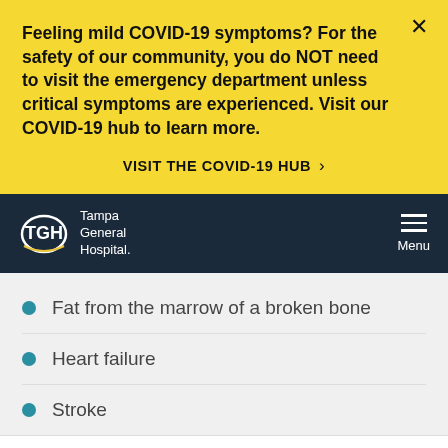Feeling mild COVID-19 symptoms? For the safety of our community, you do NOT need to visit the emergency department unless critical symptoms are experienced. Visit our COVID-19 hub to learn more.
VISIT THE COVID-19 HUB >
TGH Tampa General Hospital Menu
Fat from the marrow of a broken bone
Heart failure
Stroke
SCHEDULE AN APPOINTMENT